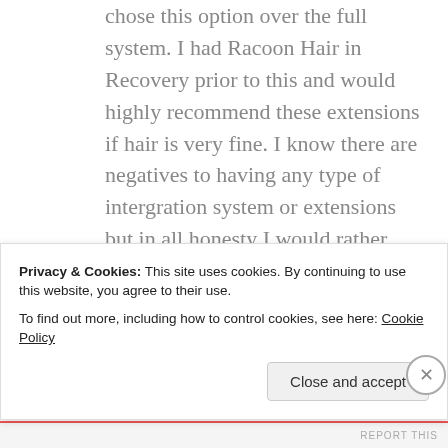chose this option over the full system. I had Racoon Hair in Recovery prior to this and would highly recommend these extensions if hair is very fine. I know there are negatives to having any type of intergration system or extensions but in all honesty I would rather have my Minima than return to life before having it fitted. I will, however continue to search for anything in the South East that may compare. I'm so pleased to find this post. 🙂
Privacy & Cookies: This site uses cookies. By continuing to use this website, you agree to their use.
To find out more, including how to control cookies, see here: Cookie Policy